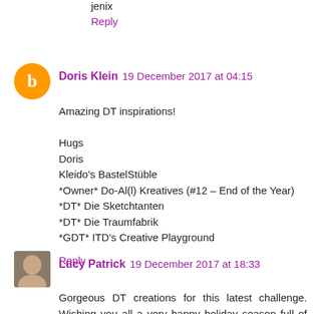jenix
Reply
Doris Klein  19 December 2017 at 04:15
Amazing DT inspirations!

Hugs
Doris
Kleido's BastelStüble
*Owner* Do-Al(l) Kreatives (#12 – End of the Year)
*DT* Die Sketchtanten
*DT* Die Traumfabrik
*GDT* ITD's Creative Playground
Reply
Lucy Patrick  19 December 2017 at 18:33
Gorgeous DT creations for this latest challenge. Wishing you all a very happy holiday season full of love, good health and adventures. Gina and all the DT, S.ome in the...